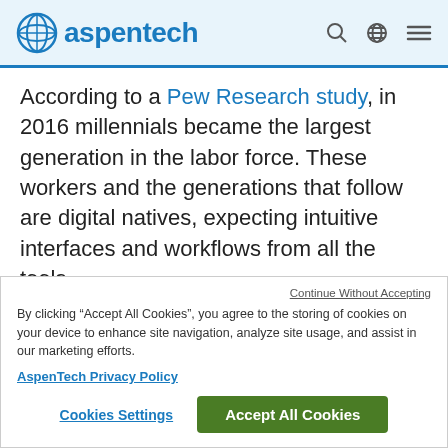aspentech — navigation header with search, language, and menu icons
According to a Pew Research study, in 2016 millennials became the largest generation in the labor force. These workers and the generations that follow are digital natives, expecting intuitive interfaces and workflows from all the tools
Continue Without Accepting
By clicking “Accept All Cookies”, you agree to the storing of cookies on your device to enhance site navigation, analyze site usage, and assist in our marketing efforts.
AspenTech Privacy Policy
Cookies Settings
Accept All Cookies